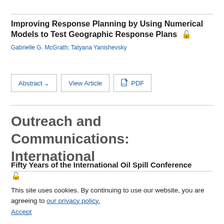Improving Response Planning by Using Numerical Models to Test Geographic Response Plans
Gabrielle G. McGrath;  Tatyana Yanishevsky
Abstract  |  View Article  |  PDF
Outreach and Communications: International
Fifty Years of the International Oil Spill Conference
This site uses cookies. By continuing to use our website, you are agreeing to our privacy policy. Accept